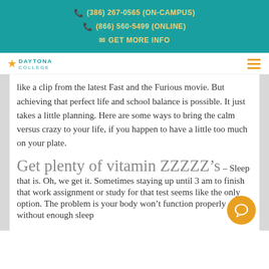(386) 267-0565 (ON-CAMPUS)
(866) 560-5499 (ONLINE)
GET MORE INFO
[Figure (logo): Daytona College star logo with teal text]
like a clip from the latest Fast and the Furious movie. But achieving that perfect life and school balance is possible. It just takes a little planning. Here are some ways to bring the calm versus crazy to your life, if you happen to have a little too much on your plate.
Get plenty of vitamin ZZZZZ’s – Sleep that is. Oh, we get it. Sometimes staying up until 3 am to finish that work assignment or study for that test seems like the only option. The problem is your body won’t function properly without enough sleep